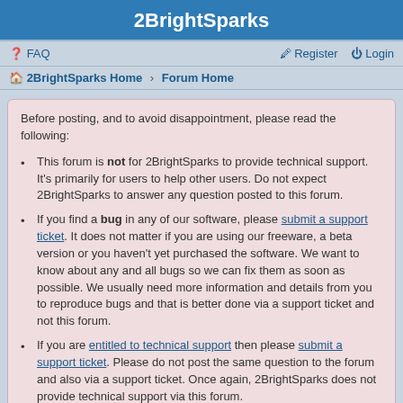2BrightSparks
FAQ   Register   Login
2BrightSparks Home › Forum Home
Before posting, and to avoid disappointment, please read the following:
This forum is not for 2BrightSparks to provide technical support. It's primarily for users to help other users. Do not expect 2BrightSparks to answer any question posted to this forum.
If you find a bug in any of our software, please submit a support ticket. It does not matter if you are using our freeware, a beta version or you haven't yet purchased the software. We want to know about any and all bugs so we can fix them as soon as possible. We usually need more information and details from you to reproduce bugs and that is better done via a support ticket and not this forum.
If you are entitled to technical support then please submit a support ticket. Please do not post the same question to the forum and also via a support ticket. Once again, 2BrightSparks does not provide technical support via this forum.
It is currently Sat Aug 20, 2022 6:57 am